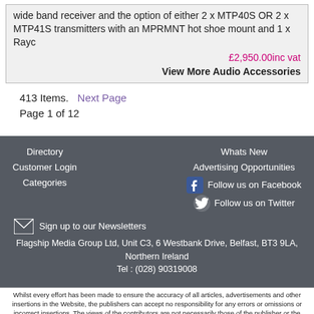wide band receiver and the option of either 2 x MTP40S OR 2 x MTP41S transmitters with an MPRMNT hot shoe mount and 1 x Rayc
£2,950.00inc vat
View More Audio Accessories
413 Items.   Next Page
Page 1 of 12
Directory
Customer Login
Categories
Whats New
Advertising Opportunities
Follow us on Facebook
Follow us on Twitter
Sign up to our Newsletters
Flagship Media Group Ltd, Unit C3, 6 Westbank Drive, Belfast, BT3 9LA, Northern Ireland
Tel : (028) 90319008
Whilst every effort has been made to ensure the accuracy of all articles, advertisements and other insertions in the Website, the publishers can accept no responsibility for any errors or omissions or incorrect insertions. The views of the contributors are not necessarily those of the publisher or the advertisers. No part of this publication may be reproduced without the written permission of the copyright holder and publisher, application for which should be made to the publisher. By entering